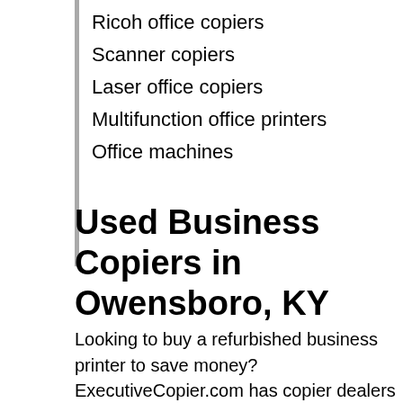Ricoh office copiers
Scanner copiers
Laser office copiers
Multifunction office printers
Office machines
Used Business Copiers in Owensboro, KY
Looking to buy a refurbished business printer to save money? ExecutiveCopier.com has copier dealers in Owensboro, KY with large inventories of used copiers for sale. Are you searching for a high-end office copier in Owensboro, KY? Do you want to receive a deep discount on a refurbished business copier? Give us a minute of your time and submit your copier requirements. Our copier partners can look at your requirements and offer some solutions